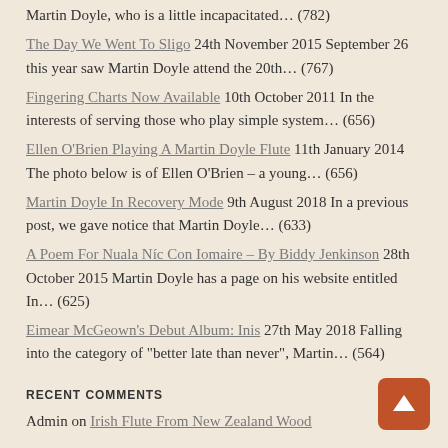Martin Doyle, who is a little incapacitated... (782)
The Day We Went To Sligo 24th November 2015 September 26 this year saw Martin Doyle attend the 20th... (767)
Fingering Charts Now Available 10th October 2011 In the interests of serving those who play simple system... (656)
Ellen O'Brien Playing A Martin Doyle Flute 11th January 2014 The photo below is of Ellen O'Brien – a young... (656)
Martin Doyle In Recovery Mode 9th August 2018 In a previous post, we gave notice that Martin Doyle... (633)
A Poem For Nuala Níc Con Iomaire – By Biddy Jenkinson 28th October 2015 Martin Doyle has a page on his website entitled In... (625)
Eimear McGeown's Debut Album: Inis 27th May 2018 Falling into the category of "better late than never", Martin... (564)
RECENT COMMENTS
Admin on Irish Flute From New Zealand Wood